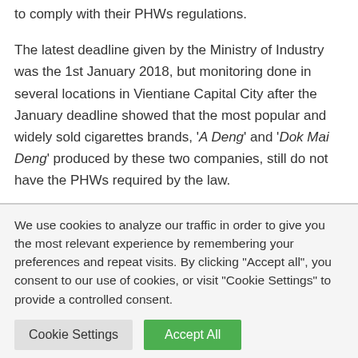to comply with their PHWs regulations.
The latest deadline given by the Ministry of Industry was the 1st January 2018, but monitoring done in several locations in Vientiane Capital City after the January deadline showed that the most popular and widely sold cigarettes brands, 'A Deng' and 'Dok Mai Deng' produced by these two companies, still do not have the PHWs required by the law.
We use cookies to analyze our traffic in order to give you the most relevant experience by remembering your preferences and repeat visits. By clicking "Accept all", you consent to our use of cookies, or visit "Cookie Settings" to provide a controlled consent.